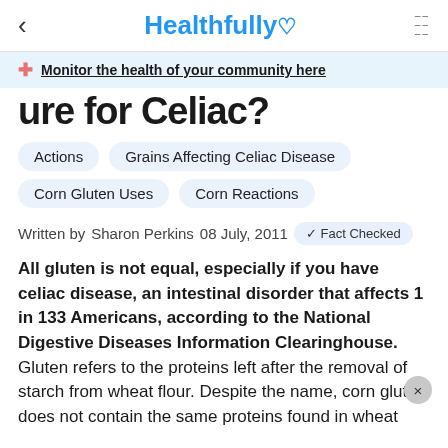< Healthfully ♡ ≡
Monitor the health of your community here
…ure for Celiac?
Actions
Grains Affecting Celiac Disease
Corn Gluten Uses
Corn Reactions
Written by Sharon Perkins 08 July, 2011 ✓ Fact Checked
All gluten is not equal, especially if you have celiac disease, an intestinal disorder that affects 1 in 133 Americans, according to the National Digestive Diseases Information Clearinghouse. Gluten refers to the proteins left after the removal of starch from wheat flour. Despite the name, corn gluten does not contain the same proteins found in wheat…